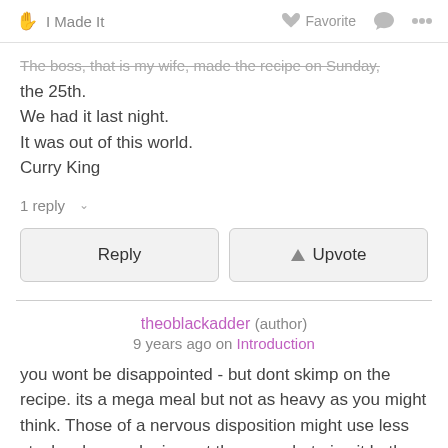I Made It  Favorite  ... (share, comment icons)
The boss, that is my wife, made the recipe on Sunday, the 25th.
We had it last night.
It was out of this world.
Curry King
1 reply
Reply   Upvote
theoblackadder (author)
9 years ago on Introduction
you wont be disappointed - but dont skimp on the recipe. its a mega meal but not as heavy as you might think. Those of a nervous disposition might use less stock cubes and miss out the puree but give it both barrels and